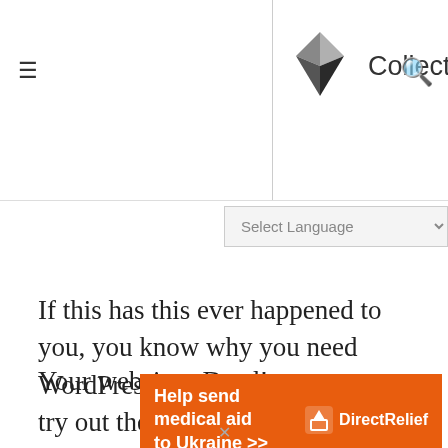CollectiveRay
If this has this ever happened to you, you know why you need WordPress debugging: You go to try out the latest and greatest plugin and as soon as you activate. Boom!
Your website - Dead!
[Figure (infographic): Orange Direct Relief donation banner: 'Help send medical aid to Ukraine >>' with Direct Relief logo on the right]